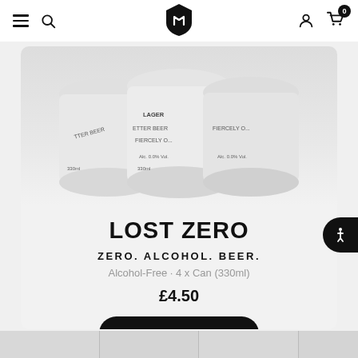Navigation bar with hamburger menu, search, logo, user icon, cart (0)
[Figure (photo): Three white aluminium cans of Lost Zero alcohol-free lager beer (330ml, Alc. 0.0% Vol.), partially visible, arranged side by side on a light background]
LOST ZERO
ZERO. ALCOHOL. BEER.
Alcohol-Free · 4 x Can (330ml)
£4.50
Add to Basket